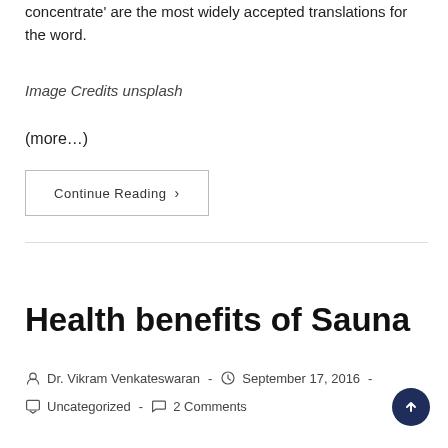concentrate' are the most widely accepted translations for the word.
Image Credits unsplash
(more…)
Continue Reading ›
Health benefits of Sauna
Post author: Dr. Vikram Venkateswaran - Post published: September 17, 2016 - Post category: Uncategorized - Post comments: 2 Comments